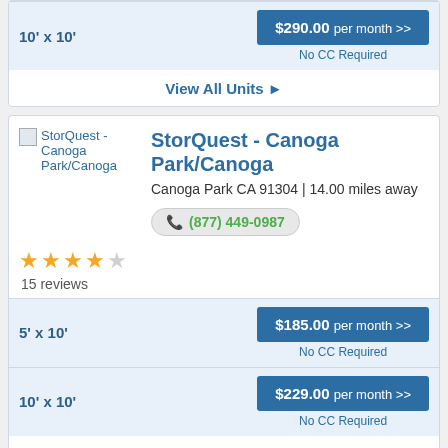10' x 10'
$290.00 per month >>
No CC Required
View All Units ❯
[Figure (other): StorQuest - Canoga Park/Canoga facility image (broken image placeholder)]
StorQuest - Canoga Park/Canoga
Canoga Park CA 91304 | 14.00 miles away
(877) 449-0987
15 reviews
5' x 10'
$185.00 per month >>
No CC Required
10' x 10'
$229.00 per month >>
No CC Required
View All Units ❯